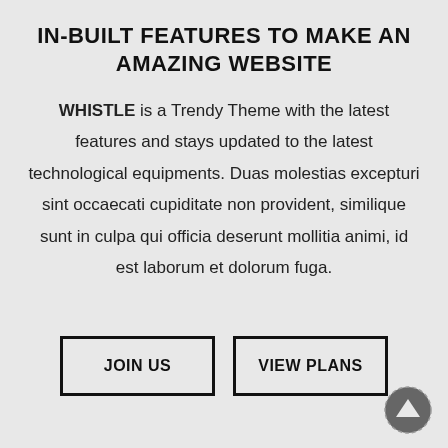IN-BUILT FEATURES TO MAKE AN AMAZING WEBSITE
WHISTLE is a Trendy Theme with the latest features and stays updated to the latest technological equipments. Duas molestias excepturi sint occaecati cupiditate non provident, similique sunt in culpa qui officia deserunt mollitia animi, id est laborum et dolorum fuga.
JOIN US
VIEW PLANS
[Figure (illustration): Dark grey circular scroll-to-top button with an upward arrow icon, positioned at the bottom right corner]